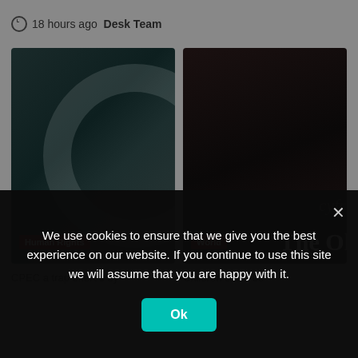18 hours ago  Desk Team
[Figure (photo): Dark teal-toned photo with a circular ring light shape, category label 'Human Rights' in a red badge at bottom left]
[Figure (photo): Dark photo of hands typing on a keyboard, category label 'World' in a red badge at bottom left, partial text 'The O' visible]
CPEC a trap offered by
Children could be
We use cookies to ensure that we give you the best experience on our website. If you continue to use this site we will assume that you are happy with it.